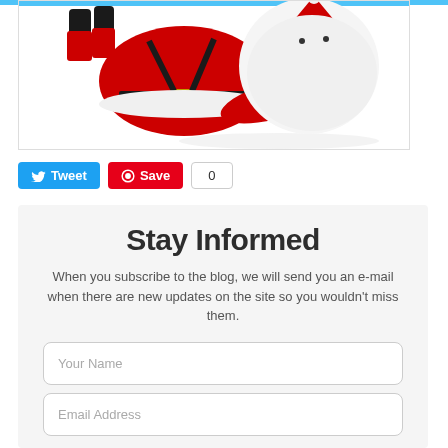[Figure (photo): Santa Claus figure in red suit with white beard, appearing to fall or dive diagonally across a white background with a light blue bar at top]
Tweet
Save
0
Stay Informed
When you subscribe to the blog, we will send you an e-mail when there are new updates on the site so you wouldn't miss them.
Your Name
Email Address